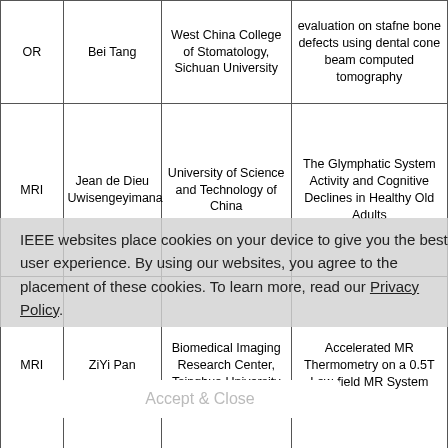|  | Author | Institution | Title |
| --- | --- | --- | --- |
| OR | Bei Tang | West China College of Stomatology, Sichuan University | evaluation on stafne bone defects using dental cone beam computed tomography |
| MRI | Jean de Dieu Uwisengeyimana | University of Science and Technology of China | The Glymphatic System Activity and Cognitive Declines in Healthy Old Adults |
| MRI | ZiYi Pan | Biomedical Imaging Research Center, Tsinghua University | Accelerated MR Thermometry on a 0.5T Low-field MR System |
|  |  |  | Real-time |